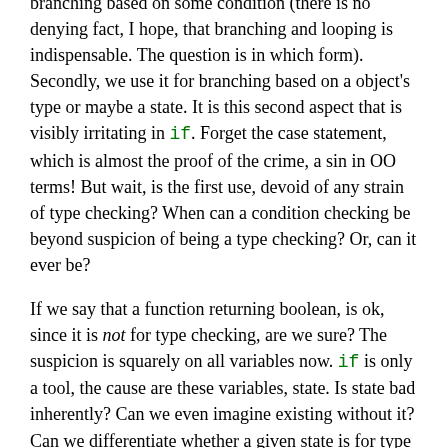branching based on some condition (there is no denying fact, I hope, that branching and looping is indispensable. The question is in which form). Secondly, we use it for branching based on a object's type or maybe a state. It is this second aspect that is visibly irritating in if. Forget the case statement, which is almost the proof of the crime, a sin in OO terms! But wait, is the first use, devoid of any strain of type checking? When can a condition checking be beyond suspicion of being a type checking? Or, can it ever be?
If we say that a function returning boolean, is ok, since it is not for type checking, are we sure? The suspicion is squarely on all variables now. if is only a tool, the cause are these variables, state. Is state bad inherently? Can we even imagine existing without it? Can we differentiate whether a given state is for type checking, and not for other things? By the way, is there anything at all a state can stand for, while not being used for type checking? This reminds me of the brain's model, where there is no persistent data store, or state per se, it is all in the inter connections. How things are connected is itself the information and the machinery to analyze it. Astounding, but can